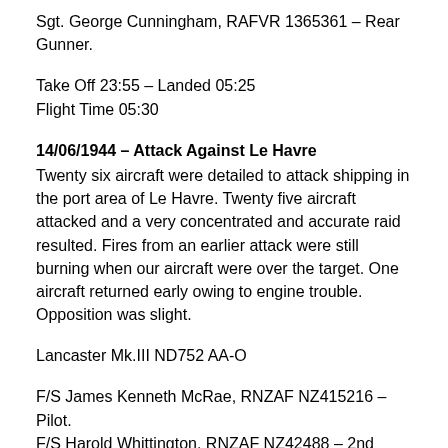Sgt. George Cunningham, RAFVR 1365361 – Rear Gunner.
Take Off 23:55 – Landed 05:25
Flight Time 05:30
14/06/1944 – Attack Against Le Havre
Twenty six aircraft were detailed to attack shipping in the port area of Le Havre. Twenty five aircraft attacked and a very concentrated and accurate raid resulted. Fires from an earlier attack were still burning when our aircraft were over the target. One aircraft returned early owing to engine trouble. Opposition was slight.
Lancaster Mk.III ND752 AA-O
F/S James Kenneth McRae, RNZAF NZ415216 – Pilot.
F/S Harold Whittington, RNZAF NZ42488 – 2nd Pilot.